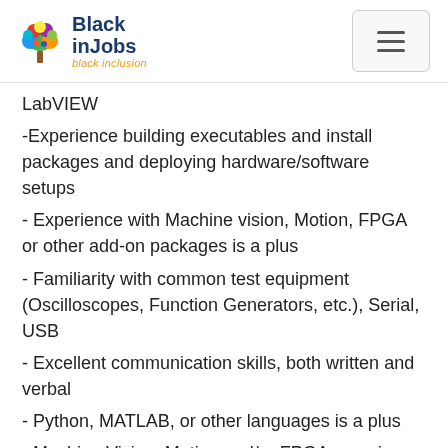BlackinJobs black inclusion
LabVIEW
-Experience building executables and install packages and deploying hardware/software setups
- Experience with Machine vision, Motion, FPGA or other add-on packages is a plus
- Familiarity with common test equipment (Oscilloscopes, Function Generators, etc.), Serial, USB
- Excellent communication skills, both written and verbal
- Python, MATLAB, or other languages is a plus
- Machine Vision, Motion and/or FPGA experience is big plus. Python and/or Matlab...